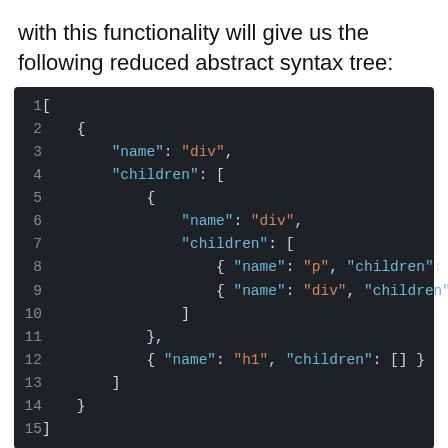with this functionality will give us the following reduced abstract syntax tree:
[Figure (screenshot): Dark-themed code editor screenshot showing a JSON abstract syntax tree with 15 numbered lines. The code shows an array containing a div node with children including nested div nodes with p, div, and h1 child nodes.]